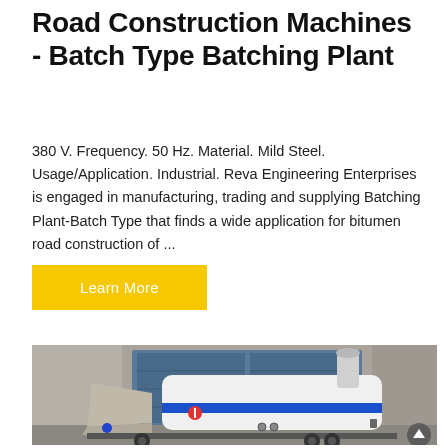Road Construction Machines - Batch Type Batching Plant
380 V. Frequency. 50 Hz. Material. Mild Steel. Usage/Application. Industrial. Reva Engineering Enterprises is engaged in manufacturing, trading and supplying Batching Plant-Batch Type that finds a wide application for bitumen road construction of ...
Learn More
[Figure (photo): Photo of a white and blue road construction batch type batching plant machine on a trailer, parked in front of a concrete building with garage doors. The machine has a cylindrical exhaust stack, a hopper on the left side, and blue stripe detailing.]